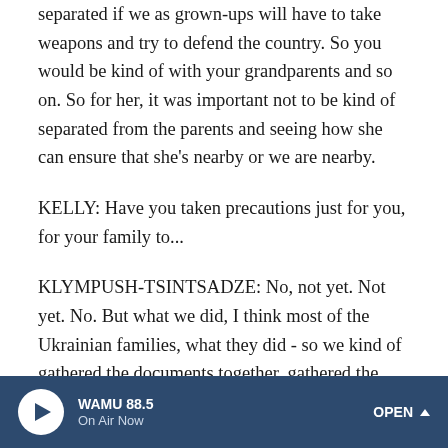separated if we as grown-ups will have to take weapons and try to defend the country. So you would be kind of with your grandparents and so on. So for her, it was important not to be kind of separated from the parents and seeing how she can ensure that she's nearby or we are nearby.
KELLY: Have you taken precautions just for you, for your family to...
KLYMPUSH-TSINTSADZE: No, not yet. Not yet. No. But what we did, I think most of the Ukrainian families, what they did - so we kind of gathered the documents together, gathered the things that you would have to have at hand if you would have to leave. So that's probably all the precautions. And I am thinking right now of actually trying
WAMU 88.5 | On Air Now | OPEN